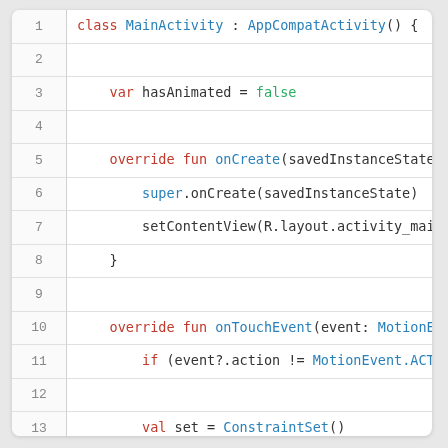Code listing showing Kotlin Android MainActivity class with lines 1-16